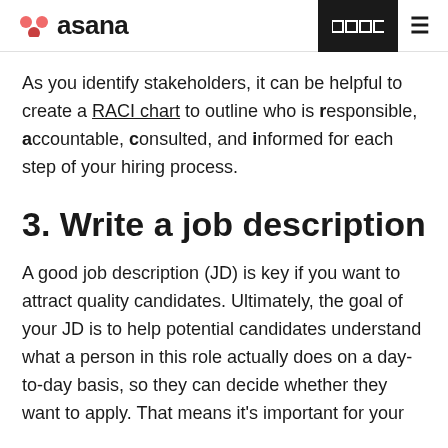asana
As you identify stakeholders, it can be helpful to create a RACI chart to outline who is responsible, accountable, consulted, and informed for each step of your hiring process.
3. Write a job description
A good job description (JD) is key if you want to attract quality candidates. Ultimately, the goal of your JD is to help potential candidates understand what a person in this role actually does on a day-to-day basis, so they can decide whether they want to apply. That means it's important for your description to accurately reflect the duties and